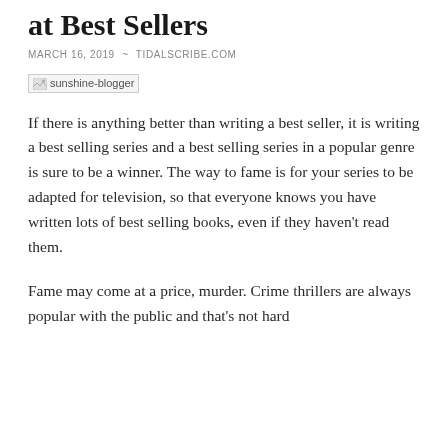at Best Sellers
MARCH 16, 2019  ~  TIDALSCRIBE.COM
[Figure (photo): sunshine-blogger image placeholder with broken image icon]
If there is anything better than writing a best seller, it is writing a best selling series and a best selling series in a popular genre is sure to be a winner. The way to fame is for your series to be adapted for television, so that everyone knows you have written lots of best selling books, even if they haven't read them.
Fame may come at a price, murder. Crime thrillers are always popular with the public and that's not hard